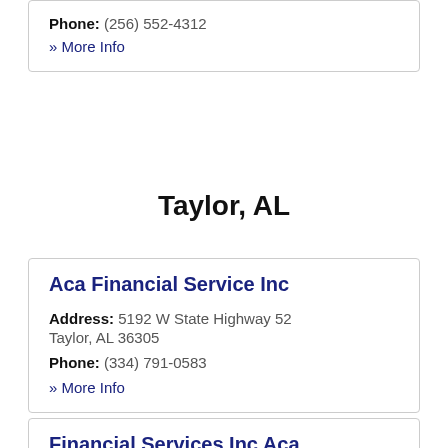Phone: (256) 552-4312
» More Info
Taylor, AL
Aca Financial Service Inc
Address: 5192 W State Highway 52 Taylor, AL 36305
Phone: (334) 791-0583
» More Info
Financial Services Inc Aca